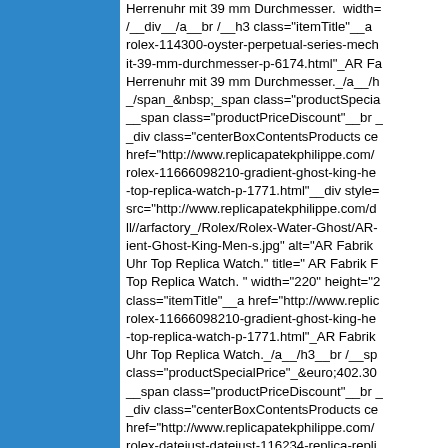[Figure (other): Blue rectangle panel on the left side of the page]
Herrenuhr mit 39 mm Durchmesser.  width= / __div__/a__br /__h3 class="itemTitle"__a rolex-114300-oyster-perpetual-series-mech it-39-mm-durchmesser-p-6174.html"_AR Fa Herrenuhr mit 39 mm Durchmesser._/a__/h _/span_&nbsp;_span class="productSpecia __span class="productPriceDiscount"__br _ _div class="centerBoxContentsProducts ce href="http://www.replicapatekphilippe.com/ rolex-11666098210-gradient-ghost-king-he -top-replica-watch-p-1771.html"__div style= src="http://www.replicapatekphilippe.com/d ll//arfactory_/Rolex/Rolex-Water-Ghost/AR- ient-Ghost-King-Men-s.jpg" alt="AR Fabrik Uhr Top Replica Watch." title=" AR Fabrik F Top Replica Watch. " width="220" height="2 class="itemTitle"__a href="http://www.replic rolex-11666098210-gradient-ghost-king-he -top-replica-watch-p-1771.html"_AR Fabrik Uhr Top Replica Watch._/a__/h3__br /__sp class="productSpecialPrice"_&euro;402.30 __span class="productPriceDiscount"__br _ _div class="centerBoxContentsProducts ce href="http://www.replicapatekphilippe.com/ rolex-datejust-datejust-116234-replica-repli s-zu-ein-gold-p-4121.html"__div style="vert src="http://www.replicapatekphilippe.com/d ll//arfactory_/AR-factory/AR-Factory-Rolex/ DATEJUST-datejust-116234-replica.jpg" alt= Top Replik eins zu ein gold" title=" AR Fabr eins zu ein gold " width="220" height="220 class="itemTitle"__a href="http://www.replic rolex-datejust-datejust-116234-replica-repli